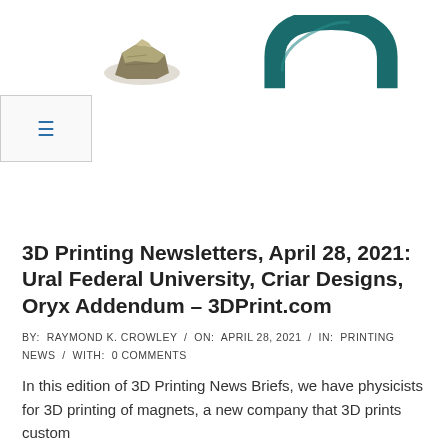[Figure (photo): Two product photos at top: left shows a small grayish-green 3D printed object (military-like), right shows a dark teal curved/arch shaped 3D printed object (possibly a filament spool or curved part)]
[Figure (other): Navigation menu button with three horizontal lines (hamburger icon) in blue, inside a light gray bordered box]
3D Printing Newsletters, April 28, 2021: Ural Federal University, Criar Designs, Oryx Addendum – 3DPrint.com
BY:  RAYMOND K. CROWLEY  /  ON:  APRIL 28, 2021  /  IN:  PRINTING NEWS  /  WITH:  0 COMMENTS
In this edition of 3D Printing News Briefs, we have physicists for 3D printing of magnets, a new company that 3D prints custom